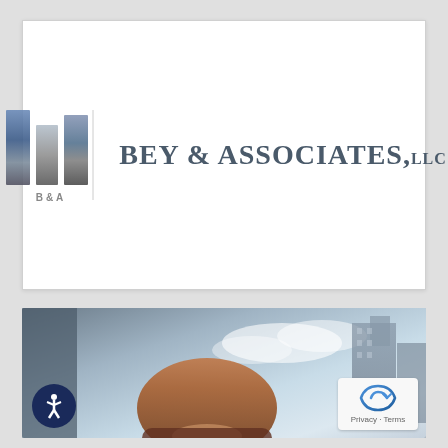[Figure (logo): Bey & Associates LLC logo with three vertical bars (columns) icon in blue/grey and firm name text]
[Figure (photo): Photo of a smiling African-American man in professional attire with city skyline in background, with accessibility icon badge and reCAPTCHA badge overlaid]